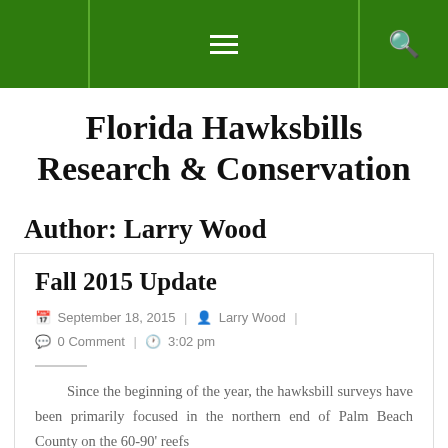Florida Hawksbills Research & Conservation — navigation bar
Florida Hawksbills Research & Conservation
Author: Larry Wood
Fall 2015 Update
September 18, 2015 | Larry Wood | 0 Comment | 3:02 pm
Since the beginning of the year, the hawksbill surveys have been primarily focused in the northern end of Palm Beach County on the 60-90' reefs